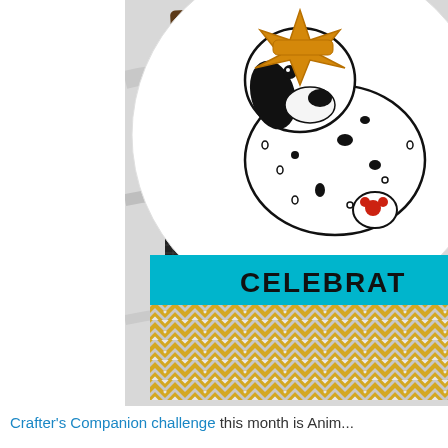[Figure (photo): Close-up photo of a handmade greeting card featuring a Dalmatian puppy wearing a golden crown/star hat, on a circular white die-cut, with a teal 'CELEBRAT[E]' banner and yellow/grey chevron patterned background, leaning against a dark brown card]
Crafter's Companion challenge this month is Anim...